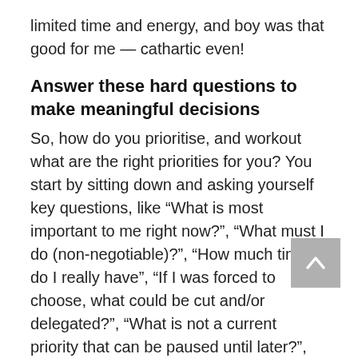limited time and energy, and boy was that good for me — cathartic even!
Answer these hard questions to make meaningful decisions
So, how do you prioritise, and workout what are the right priorities for you? You start by sitting down and asking yourself key questions, like “What is most important to me right now?”, “What must I do (non-negotiable)?”, “How much time do I really have”, “If I was forced to choose, what could be cut and/or delegated?”, “What is not a current priority that can be paused until later?”, “What roles or activities/tasks that I’m currently doing don’t add